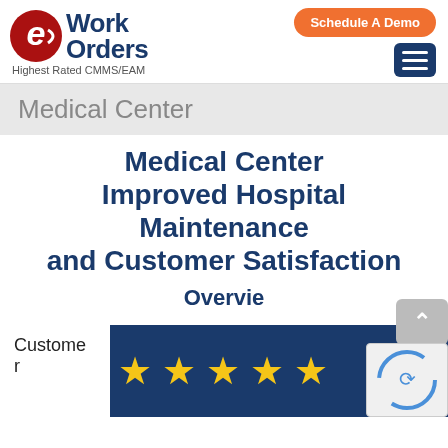[Figure (logo): eWorkOrders logo with red circular e icon and dark blue WorkOrders text, tagline Highest Rated CMMS/EAM]
[Figure (other): Orange rounded rectangle button with text Schedule A Demo and dark blue hamburger menu icon]
Medical Center
Medical Center Improved Hospital Maintenance and Customer Satisfaction
Overvie
Customer r
[Figure (other): Five yellow star rating icons on a dark navy blue background]